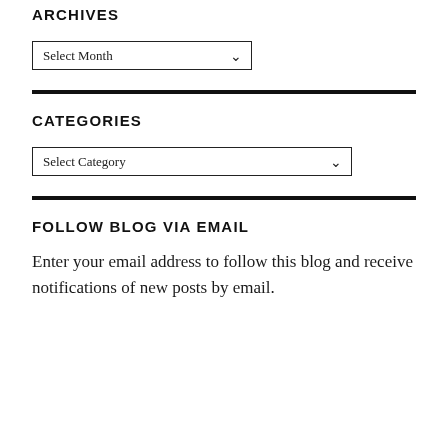ARCHIVES
Select Month
CATEGORIES
Select Category
FOLLOW BLOG VIA EMAIL
Enter your email address to follow this blog and receive notifications of new posts by email.